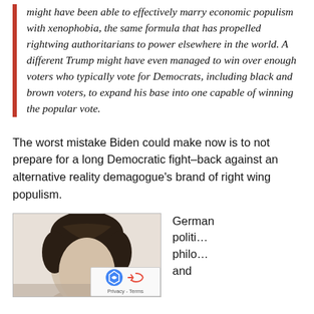might have been able to effectively marry economic populism with xenophobia, the same formula that has propelled rightwing authoritarians to power elsewhere in the world. A different Trump might have even managed to win over enough voters who typically vote for Democrats, including black and brown voters, to expand his base into one capable of winning the popular vote.
The worst mistake Biden could make now is to not prepare for a long Democratic fight–back against an alternative reality demagogue's brand of right wing populism.
[Figure (photo): Headshot photo of a person with dark hair, cropped to show head and upper body, with a light background]
German politi… philo… and